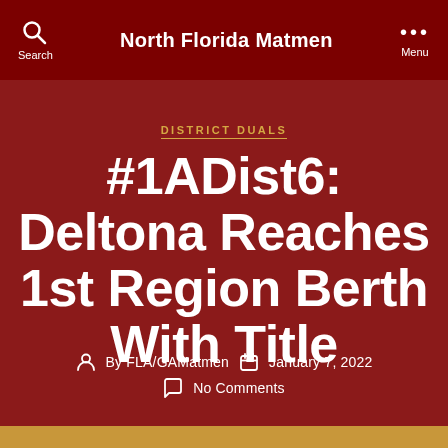North Florida Matmen
DISTRICT DUALS
#1ADist6: Deltona Reaches 1st Region Berth With Title
By FLA/GAMatmen   January 7, 2022
No Comments